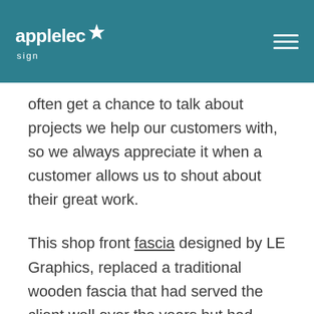applelec sign
often get a chance to talk about projects we help our customers with, so we always appreciate it when a customer allows us to shout about their great work.
This shop front fascia designed by LE Graphics, replaced a traditional wooden fascia that had served the client well over the years but had become outdated. They wanted a clean, crisp, contemporary look that seamlessly enclosed over their roller shutter. The team at LE graphics came up with a stencil cut, illuminated, powder coated